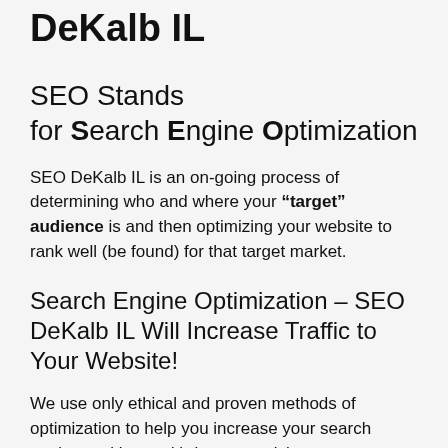DeKalb IL
SEO Stands for Search Engine Optimization
SEO DeKalb IL is an on-going process of determining who and where your “target” audience is and then optimizing your website to rank well (be found) for that target market.
Search Engine Optimization – SEO DeKalb IL Will Increase Traffic to Your Website!
We use only ethical and proven methods of optimization to help you increase your search engine ranking and bring more visitors to your website.
When you go to Google, and you type in “plumber’ or